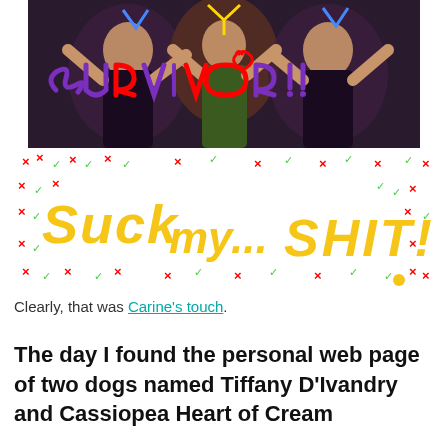[Figure (photo): Photo of women with colorful graffiti text 'SURVIVOR!!' drawn over it in purple and red]
[Figure (illustration): Graffiti-style text reading 'Suck my... SHIT!' in yellow letters surrounded by red X marks and green checkmarks on white background]
Clearly, that was Carine's touch.
The day I found the personal web page of two dogs named Tiffany D'Ivandry and Cassiopea Heart of Cream